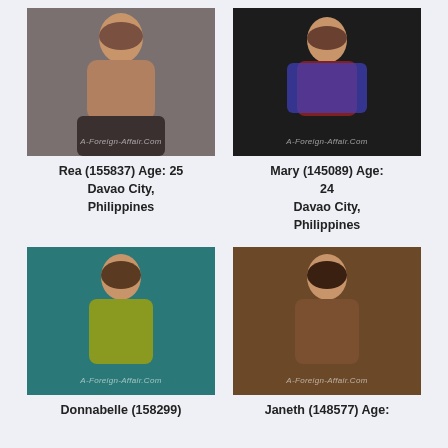[Figure (photo): Photo of Rea, young woman with watermark A-Foreign-Affair.Com]
[Figure (photo): Photo of Mary, young woman with watermark A-Foreign-Affair.Com]
Rea (155837) Age: 25
Davao City,
Philippines
Mary (145089) Age: 24
Davao City,
Philippines
[Figure (photo): Photo of Donnabelle, young woman in yellow top with watermark A-Foreign-Affair.Com]
[Figure (photo): Photo of Janeth, young woman with watermark A-Foreign-Affair.Com]
Donnabelle (158299)
Janeth (148577) Age: